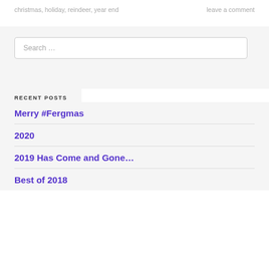christmas, holiday, reindeer, year end    leave a comment
Search …
RECENT POSTS
Merry #Fergmas
2020
2019 Has Come and Gone…
Best of 2018